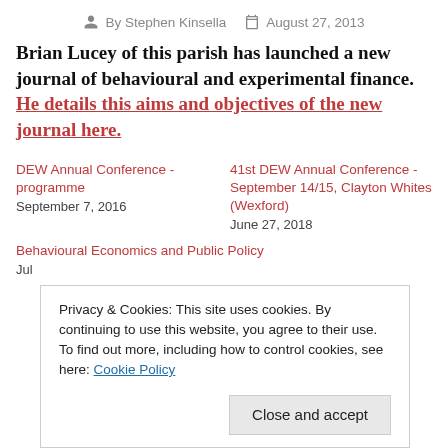By Stephen Kinsella   August 27, 2013
Brian Lucey of this parish has launched a new journal of behavioural and experimental finance. He details this aims and objectives of the new journal here.
DEW Annual Conference - programme
September 7, 2016
41st DEW Annual Conference - September 14/15, Clayton Whites (Wexford)
June 27, 2018
Behavioural Economics and Public Policy
July...
Privacy & Cookies: This site uses cookies. By continuing to use this website, you agree to their use.
To find out more, including how to control cookies, see here: Cookie Policy
Close and accept